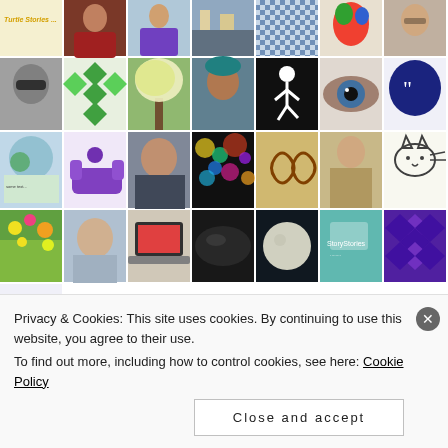[Figure (screenshot): Grid of user avatar/profile thumbnail images in multiple rows, showing photos, illustrations, patterns, and icons. Last row has one purple star/snowflake icon. Below is a privacy & cookies banner with a 'Close and accept' button.]
Privacy & Cookies: This site uses cookies. By continuing to use this website, you agree to their use.
To find out more, including how to control cookies, see here: Cookie Policy
Close and accept